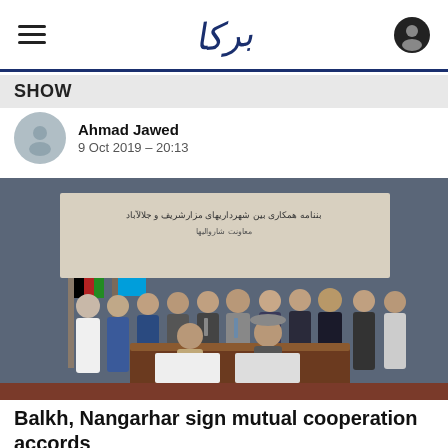Amu TV header with hamburger menu, logo, and user icon
SHOW
Ahmad Jawed
9 Oct 2019 – 20:13
[Figure (photo): Group of men at a signing ceremony. Two men seated at a desk sign documents while approximately 15 men stand behind them. A banner in Dari script reads cooperation agreement between municipalities of Mazar-i-Sharif and Jalalabad. Afghan flags are visible in the background.]
Balkh, Nangarhar sign mutual cooperation accords